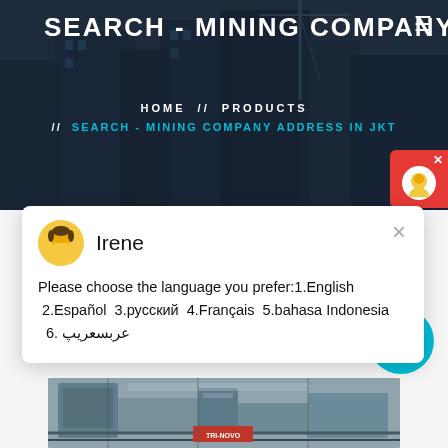SEARCH - MINING COMPANY AD
HOME // PRODUCTS // SEARCH - MINING COMPANY ADDRESS IN JKT
[Figure (screenshot): Chat popup widget with agent avatar named Irene and language selection message]
Please choose the language you prefer:1.English  2.Español  3.русский  4.Français  5.bahasa Indonesia   6. عربسعریپ
[Figure (photo): Industrial mining machinery in a factory or processing plant]